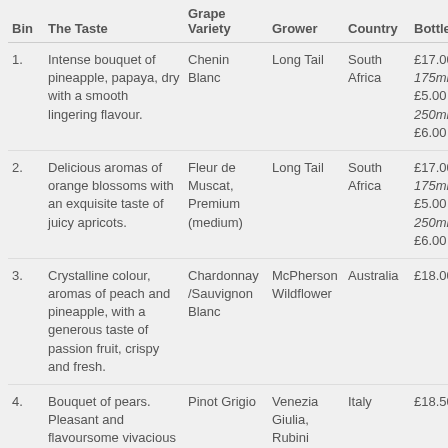| Bin | The Taste | Grape Variety | Grower | Country | Bottle |
| --- | --- | --- | --- | --- | --- |
| 1. | Intense bouquet of pineapple, papaya, dry with a smooth lingering flavour. | Chenin Blanc | Long Tail | South Africa | £17.00 175ml £5.00 250ml £6.00 |
| 2. | Delicious aromas of orange blossoms with an exquisite taste of juicy apricots. | Fleur de Muscat, Premium (medium) | Long Tail | South Africa | £17.00 175ml £5.00 250ml £6.00 |
| 3. | Crystalline colour, aromas of peach and pineapple, with a generous taste of passion fruit, crispy and fresh. | Chardonnay /Sauvignon Blanc | McPherson Wildflower | Australia | £18.00 |
| 4. | Bouquet of pears. Pleasant and flavoursome vivacious clean medium dry finish. | Pinot Grigio | Venezia Giulia, Rubini | Italy | £18.50 |
| 5. | Aromas of ripe gooseberry with mouth-watering | Sauvignon Blanc Reserva | Black Cottage | New Zealand | £23.00 |